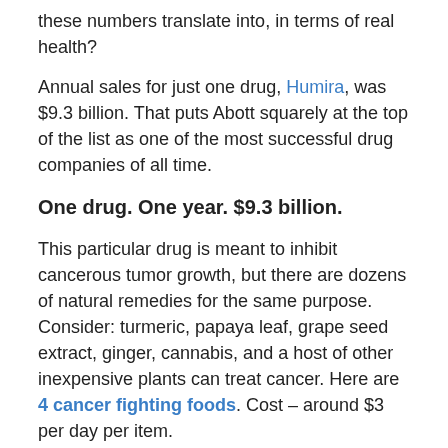these numbers translate into, in terms of real health?
Annual sales for just one drug, Humira, was $9.3 billion. That puts Abott squarely at the top of the list as one of the most successful drug companies of all time.
One drug. One year. $9.3 billion.
This particular drug is meant to inhibit cancerous tumor growth, but there are dozens of natural remedies for the same purpose. Consider: turmeric, papaya leaf, grape seed extract, ginger, cannabis, and a host of other inexpensive plants can treat cancer. Here are 4 cancer fighting foods. Cost – around $3 per day per item.
Or the 'what if' scenarios:
Getting out in nature heals tremendously. What if that
$9.3 billion was used to create...